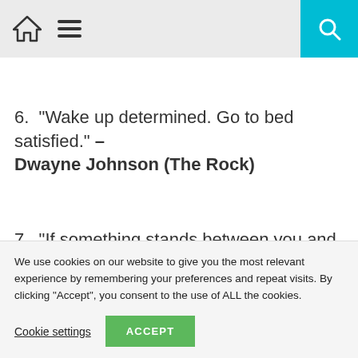Home | Menu | Search
6. “Wake up determined. Go to bed satisfied.” – Dwayne Johnson (The Rock)
7. “If something stands between you and your success, move it. Never be denied.” – Dwayne
We use cookies on our website to give you the most relevant experience by remembering your preferences and repeat visits. By clicking “Accept”, you consent to the use of ALL the cookies.
Cookie settings  ACCEPT